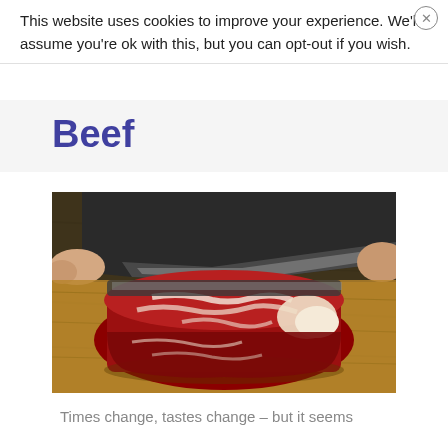This website uses cookies to improve your experience. We'll assume you're ok with this, but you can opt-out if you wish.
Beef
[Figure (photo): A raw beef steak being cut with a large black-handled knife on a wooden cutting board]
Times change, tastes change – but it seems